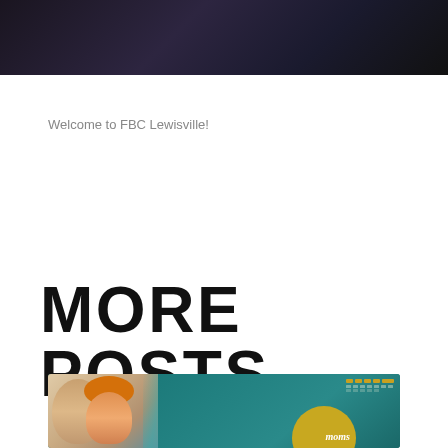[Figure (photo): Dark hero image at top of page showing shadowy figures against a dark background]
Welcome to FBC Lewisville!
MORE POSTS
[Figure (photo): Partially visible post thumbnail showing two smiling women against a teal background with a calendar graphic, yellow circle, and cursive 'Moms' text]